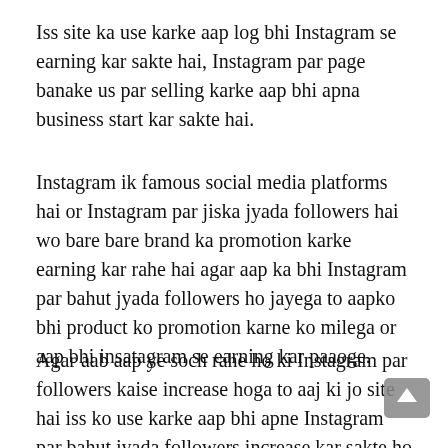Iss site ka use karke aap log bhi Instagram se earning kar sakte hai, Instagram par page banake us par selling karke aap bhi apna business start kar sakte hai.
Instagram ik famous social media platforms hai or Instagram par jiska jyada followers hai wo bare bare brand ka promotion karke earning kar rahe hai agar aap ka bhi Instagram par bahut jyada followers ho jayega to aapko bhi product ko promotion karne ko milega or aap bhi insatagram se earning kar paaoge.
Agar aab aap ye soch rahe ho ki Instagram par followers kaise increase hoga to aaj ki jo site hai iss ko use karke aap bhi apne Instagram par bahut jyada followers increase kar sakte ho aaj ke date me bahut sare aise website hai jisme aapko...